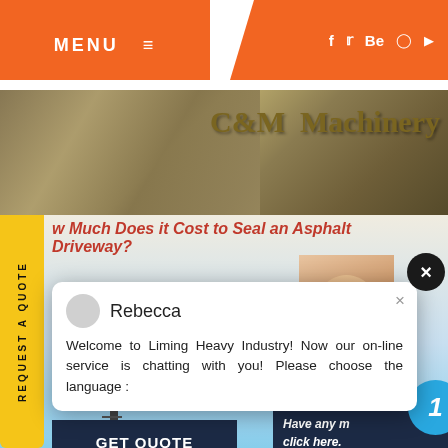MENU ≡   f  t  Be  ⊕  ▶
[Figure (screenshot): C&M Machinery banner with rocky background]
w Much Does it Cost to Seal an Asphalt Driveway?
[Figure (screenshot): Chat popup from Rebecca: Welcome to Liming Heavy Industry! Now our on-line service is chatting with you! Please choose the language :]
GET QUOTE
Have any m
click here.
1
Quota
Enquiry
drobilkalm
REQUEST A QUOTE